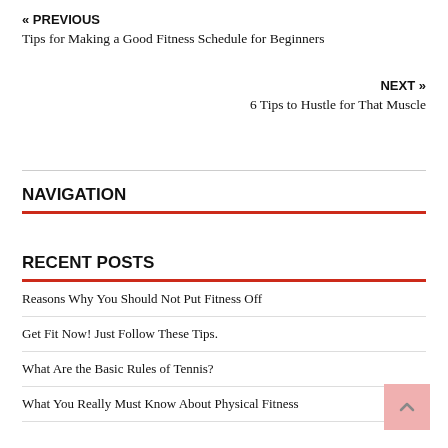« PREVIOUS
Tips for Making a Good Fitness Schedule for Beginners
NEXT »
6 Tips to Hustle for That Muscle
NAVIGATION
RECENT POSTS
Reasons Why You Should Not Put Fitness Off
Get Fit Now! Just Follow These Tips.
What Are the Basic Rules of Tennis?
What You Really Must Know About Physical Fitness